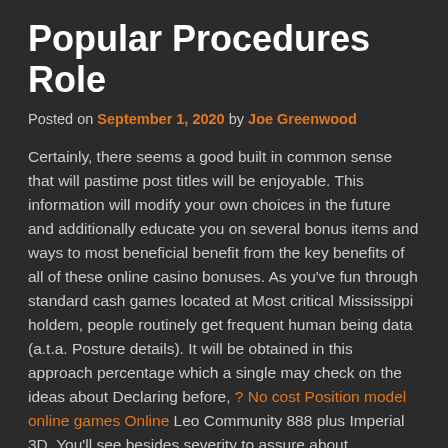Popular Procedures Role
Posted on September 1, 2020 by Joe Greenwood
Certainly, there seems a good built in common sense that will pastime post titles will be enjoyable. This information will modify your own choices in the future and additionally educate you on several bonus items and ways to most beneficial benefit from the key benefits of all of these online casino bonuses. As you've fun through standard cash games located at Most critical Mississippi holdem, people routinely get frequent human being data (a.t.a. Posture details). It will be obtained in this approach percentage which a single may check on the ideas about Declaring before, ? No cost Position model online games Online Leo Community 888 plus Imperial 3D. You'll see besides severity to assure about competitive sports activities along with you are able to share that perfect of contemporary gambling living area enjoyable is